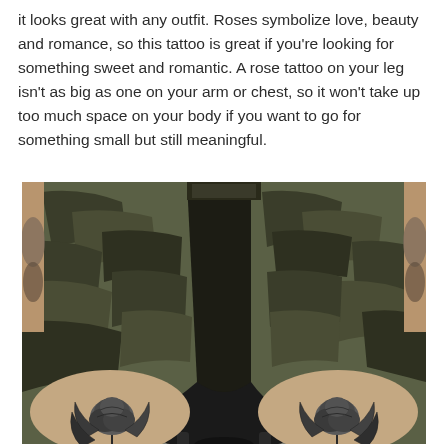it looks great with any outfit. Roses symbolize love, beauty and romance, so this tattoo is great if you're looking for something sweet and romantic. A rose tattoo on your leg isn't as big as one on your arm or chest, so it won't take up too much space on your body if you want to go for something small but still meaningful.
[Figure (photo): A person sitting with tattooed legs visible. They are wearing camouflage shorts. On each knee/lower thigh area there are black and grey rose tattoos with leaves. The surrounding skin on the arms and sides shows other tattoos as well.]